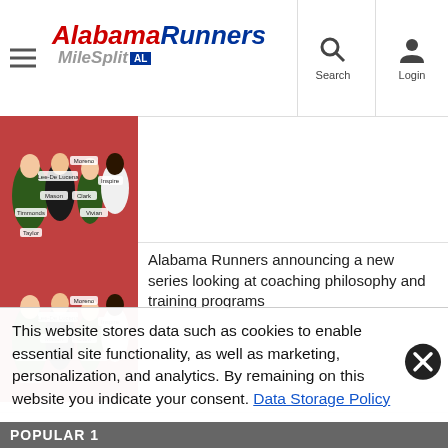Alabama Runners MileSplit AL — Search, Login
[Figure (photo): Track runners racing on a red track with name labels overlaid]
[Figure (photo): Track runners racing on a red track with name labels overlaid]
Alabama Runners announcing a new series looking at coaching philosophy and training programs
POPULAR 1
This website stores data such as cookies to enable essential site functionality, as well as marketing, personalization, and analytics. By remaining on this website you indicate your consent. Data Storage Policy